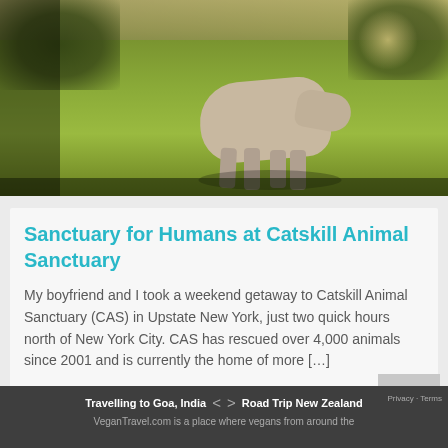[Figure (photo): A cow grazing on green grass in a sunlit field with trees in the background, warm golden light from the upper right]
Sanctuary for Humans at Catskill Animal Sanctuary
My boyfriend and I took a weekend getaway to Catskill Animal Sanctuary (CAS) in Upstate New York, just two quick hours north of New York City. CAS has rescued over 4,000 animals since 2001 and is currently the home of more […]
Load more
Travelling to Goa, India  <  >  Road Trip New Zealand  Privacy · Terms  VeganTravel.com is a place where vegans from around the